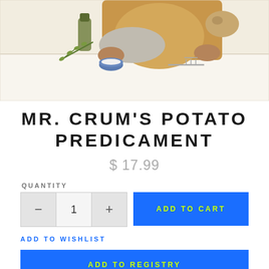[Figure (illustration): Top portion of a book cover illustration showing a person in an apron at a dining table with food items, herbs, a small bowl, and a fork on a light cream background.]
MR. CRUM'S POTATO PREDICAMENT
$ 17.99
QUANTITY
ADD TO CART
ADD TO WISHLIST
ADD TO REGISTRY